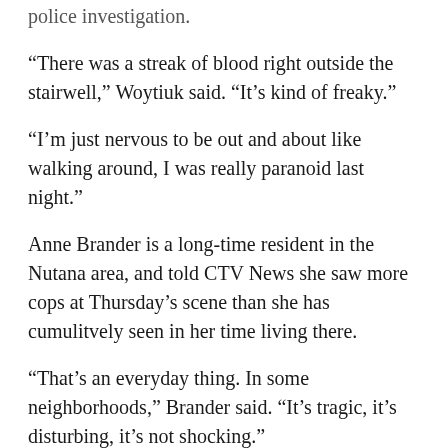police investigation.
“There was a streak of blood right outside the stairwell,” Woytiuk said. “It’s kind of freaky.”
“I’m just nervous to be out and about like walking around, I was really paranoid last night.”
Anne Brander is a long-time resident in the Nutana area, and told CTV News she saw more cops at Thursday’s scene than she has cumulitvely seen in her time living there.
“That’s an everyday thing. In some neighborhoods,” Brander said. “It’s tragic, it’s disturbing, it’s not shocking.”
Both injured men, aged 25 and 29, are being treated for their injuries, though police say their